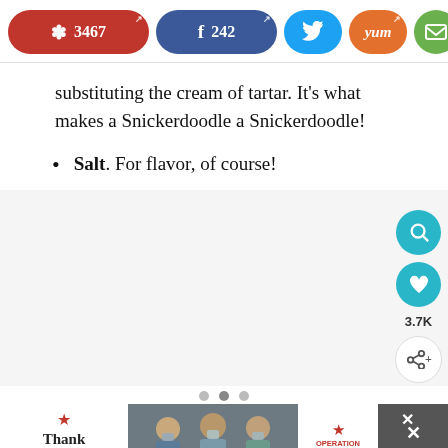[Figure (screenshot): Social media share buttons bar: Pinterest (3467), Facebook (242), Twitter, Yummly, Email]
substituting the cream of tartar. It's what makes a Snickerdoodle a Snickerdoodle!
Salt. For flavor, of course!
[Figure (screenshot): Floating right-side UI buttons: teal search button, teal heart/favorite button, 3.7K count, share button]
[Figure (screenshot): Advertisement banner at bottom: Thank you with US flag, nurses photo, Operation Gratitude logo, close X button]